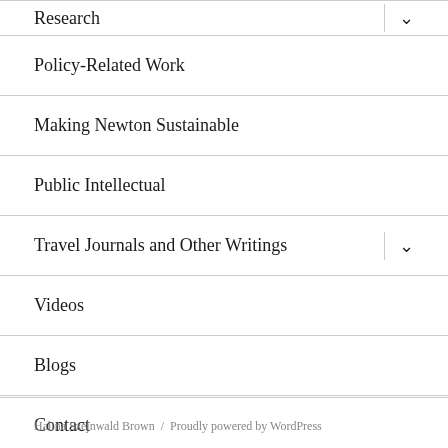Research
Policy-Related Work
Making Newton Sustainable
Public Intellectual
Travel Journals and Other Writings
Videos
Blogs
Contact
Halina Szejnwald Brown / Proudly powered by WordPress